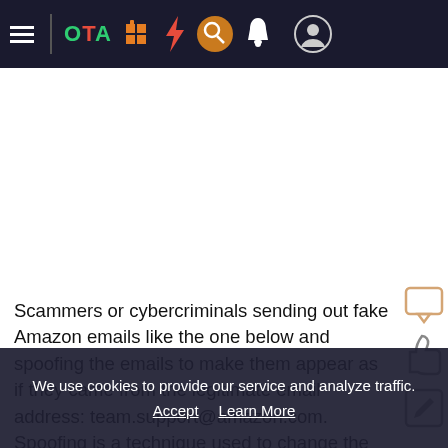OTA navigation bar with hamburger menu, OTA logo, and icons
Scammers or cybercriminals sending out fake Amazon emails like the one below and spoofing the emails to make them appear as if they came from the legitimate email address: team.support@amazon.com. Spoofing is a technique used to change the "From" address of an email to
We use cookies to provide our service and analyze traffic. Accept Learn More